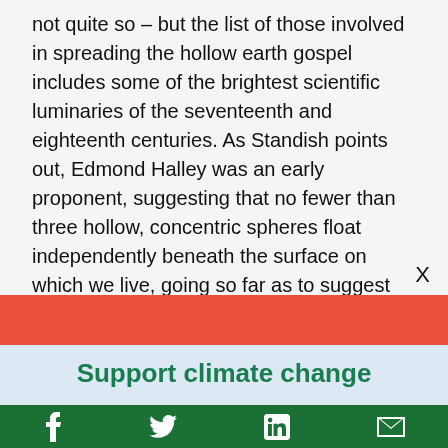not quite so – but the list of those involved in spreading the hollow earth gospel includes some of the brightest scientific luminaries of the seventeenth and eighteenth centuries. As Standish points out, Edmond Halley was an early proponent, suggesting that no fewer than three hollow, concentric spheres float independently beneath the surface on which we live, going so far as to suggest that these
[Figure (other): Red/coral colored banner bar]
Support climate change
Social share icons: Facebook, Twitter, LinkedIn, Email